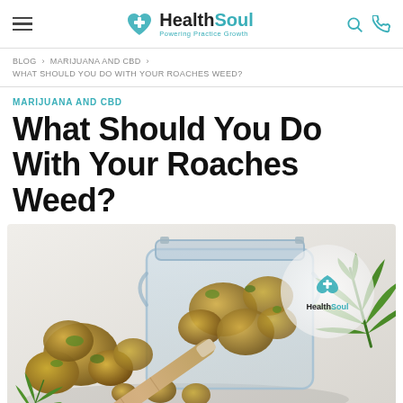HealthSoul — Powering Practice Growth
BLOG > MARIJUANA AND CBD > WHAT SHOULD YOU DO WITH YOUR ROACHES WEED?
MARIJUANA AND CBD
What Should You Do With Your Roaches Weed?
[Figure (photo): Photo of cannabis buds spilling from a glass jar alongside a rolled joint and a cannabis leaf, with HealthSoul watermark logo overlay]